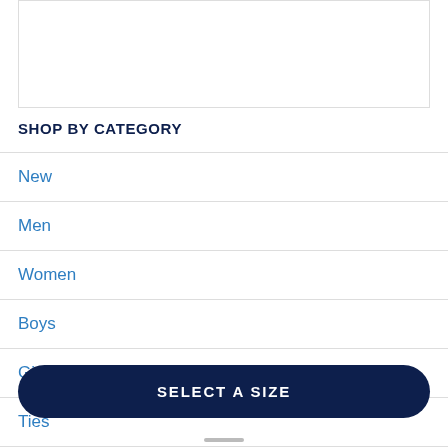[Figure (other): White rectangular box with border, cropped product image area at top]
SHOP BY CATEGORY
New
Men
Women
Boys
Girls
Ties
SELECT A SIZE